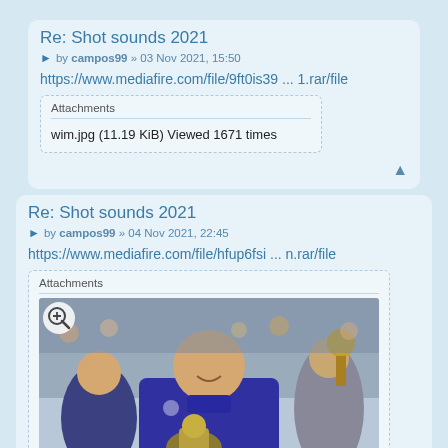Re: Shot sounds 2021
by campos99 » 03 Nov 2021, 15:50
https://www.mediafire.com/file/9ft0is39 ... 1.rar/file
Attachments
wim.jpg (11.19 KiB) Viewed 1671 times
Re: Shot sounds 2021
by campos99 » 04 Nov 2021, 22:45
https://www.mediafire.com/file/hfup6fsi ... n.rar/file
[Figure (photo): Tennis player in purple/blue Lacoste polo shirt holding a trophy (US Open trophy), smiling. Other people visible in background.]